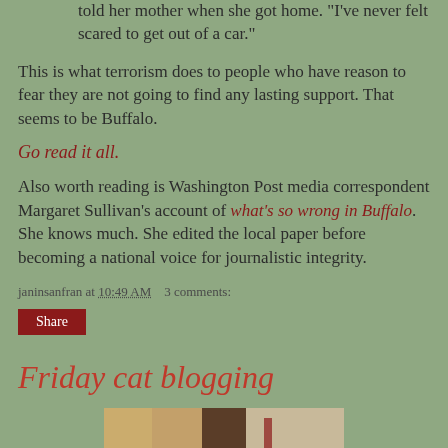told her mother when she got home. "I've never felt scared to get out of a car."
This is what terrorism does to people who have reason to fear they are not going to find any lasting support. That seems to be Buffalo.
Go read it all.
Also worth reading is Washington Post media correspondent Margaret Sullivan's account of what's so wrong in Buffalo. She knows much. She edited the local paper before becoming a national voice for journalistic integrity.
janinsanfran at 10:49 AM   3 comments:
Share
Friday cat blogging
[Figure (photo): Two side-by-side photos of cats, partially visible at the bottom of the page]